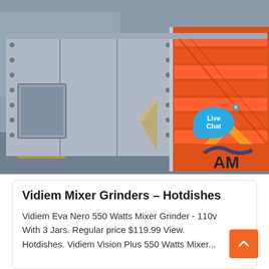[Figure (photo): Industrial vibrating screen/grinder machine with grey metal casing on left side and orange/red interior screening panels visible on right side. Orange and gold company logo 'AM' partially visible in bottom right. Factory/warehouse floor visible in background.]
Vidiem Mixer Grinders – Hotdishes
Vidiem Eva Nero 550 Watts Mixer Grinder - 110v With 3 Jars. Regular price $119.99 View. Hotdishes. Vidiem Vision Plus 550 Watts Mixer...